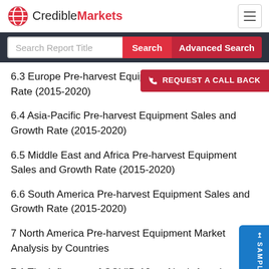CredibleMarkets
6.3 Europe Pre-harvest Equipment Sales and Growth Rate (2015-2020)
6.4 Asia-Pacific Pre-harvest Equipment Sales and Growth Rate (2015-2020)
6.5 Middle East and Africa Pre-harvest Equipment Sales and Growth Rate (2015-2020)
6.6 South America Pre-harvest Equipment Sales and Growth Rate (2015-2020)
7 North America Pre-harvest Equipment Market Analysis by Countries
7.1 The Influence of COVID-19 on North America...